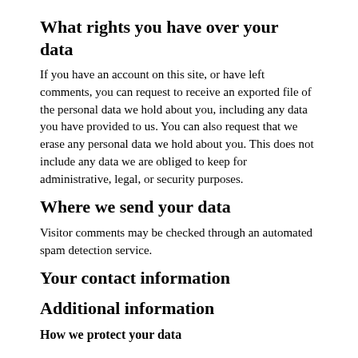What rights you have over your data
If you have an account on this site, or have left comments, you can request to receive an exported file of the personal data we hold about you, including any data you have provided to us. You can also request that we erase any personal data we hold about you. This does not include any data we are obliged to keep for administrative, legal, or security purposes.
Where we send your data
Visitor comments may be checked through an automated spam detection service.
Your contact information
Additional information
How we protect your data